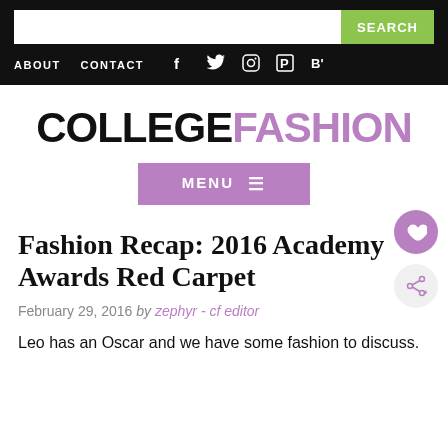ABOUT  CONTACT  [social icons: Facebook, Twitter, Instagram, Pinterest, Bloglovin]
COLLEGEFASHION
MENU
Fashion Recap: 2016 Academy Awards Red Carpet
February 29, 2016 by zephyr - cf editor
Leo has an Oscar and we have some fashion to discuss.